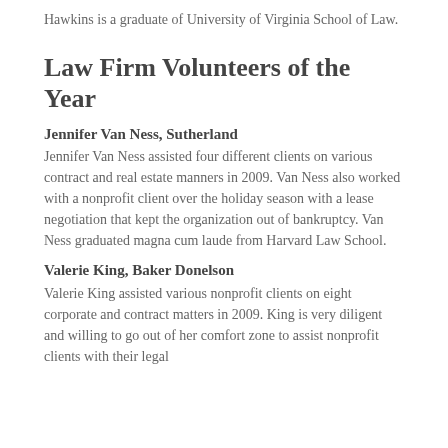Hawkins is a graduate of University of Virginia School of Law.
Law Firm Volunteers of the Year
Jennifer Van Ness, Sutherland
Jennifer Van Ness assisted four different clients on various contract and real estate manners in 2009. Van Ness also worked with a nonprofit client over the holiday season with a lease negotiation that kept the organization out of bankruptcy. Van Ness graduated magna cum laude from Harvard Law School.
Valerie King, Baker Donelson
Valerie King assisted various nonprofit clients on eight corporate and contract matters in 2009. King is very diligent and willing to go out of her comfort zone to assist nonprofit clients with their legal